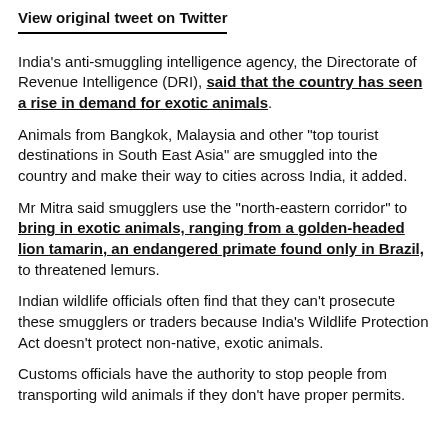View original tweet on Twitter
India's anti-smuggling intelligence agency, the Directorate of Revenue Intelligence (DRI), said that the country has seen a rise in demand for exotic animals.
Animals from Bangkok, Malaysia and other "top tourist destinations in South East Asia" are smuggled into the country and make their way to cities across India, it added.
Mr Mitra said smugglers use the "north-eastern corridor" to bring in exotic animals, ranging from a golden-headed lion tamarin, an endangered primate found only in Brazil, to threatened lemurs.
Indian wildlife officials often find that they can't prosecute these smugglers or traders because India's Wildlife Protection Act doesn't protect non-native, exotic animals.
Customs officials have the authority to stop people from transporting wild animals if they don't have proper permits.